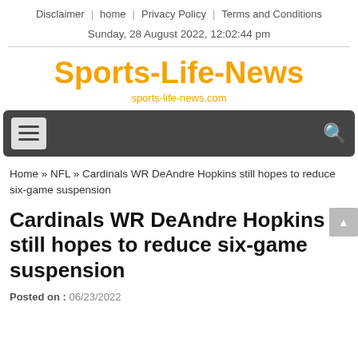Disclaimer | home | Privacy Policy | Terms and Conditions
Sunday, 28 August 2022, 12:02:44 pm
Sports-Life-News
sports-life-news.com
[Figure (other): Navigation bar with hamburger menu icon on the left and search icon on the right, dark grey background]
Home » NFL » Cardinals WR DeAndre Hopkins still hopes to reduce six-game suspension
Cardinals WR DeAndre Hopkins still hopes to reduce six-game suspension
Posted on : 06/23/2022